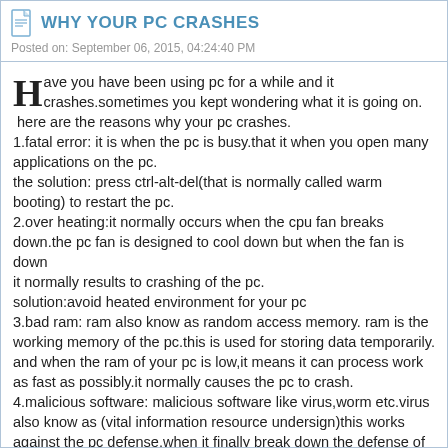WHY YOUR PC CRASHES
Posted on: September 06, 2015, 04:24:40 PM
Have you have been using pc for a while and it crashes.sometimes you kept wondering what it is going on. here are the reasons why your pc crashes.
1.fatal error: it is when the pc is busy.that it when you open many applications on the pc.
the solution: press ctrl-alt-del(that is normally called warm booting) to restart the pc.
2.over heating:it normally occurs when the cpu fan breaks down.the pc fan is designed to cool down but when the fan is down it normally results to crashing of the pc.
solution:avoid heated environment for your pc
3.bad ram: ram also know as random access memory. ram is the working memory of the pc.this is used for storing data temporarily. and when the ram of your pc is low,it means it can process work as fast as possibly.it normally causes the pc to crash.
4.malicious software: malicious software like virus,worm etc.virus also know as (vital information resource undersign)this works against the pc defense.when it finally break down the defense of the pc